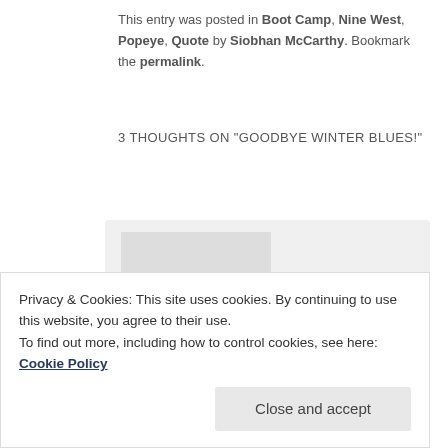This entry was posted in Boot Camp, Nine West, Popeye, Quote by Siobhan McCarthy. Bookmark the permalink.
3 THOUGHTS ON "GOODBYE WINTER BLUES!"
Mamarunsbarefoot on January 25, 2011 at 3:16 am said: Wow those are some shoes!!!! It's always great to clean out stuff, so liberating.
Privacy & Cookies: This site uses cookies. By continuing to use this website, you agree to their use. To find out more, including how to control cookies, see here: Cookie Policy